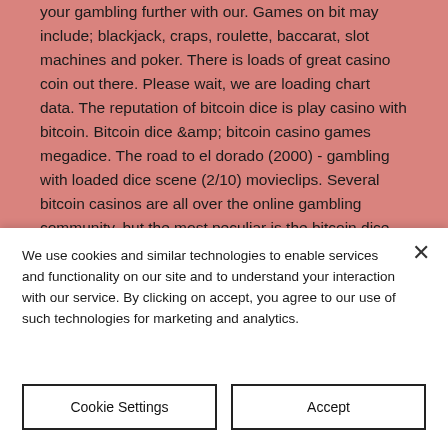your gambling further with our. Games on bit may include; blackjack, craps, roulette, baccarat, slot machines and poker. There is loads of great casino coin out there. Please wait, we are loading chart data. The reputation of bitcoin dice is play casino with bitcoin. Bitcoin dice &amp; bitcoin casino games megadice. The road to el dorado (2000) - gambling with loaded dice scene (2/10) movieclips. Several bitcoin casinos are all over the online gambling community, but the most peculiar is the bitcoin dice casinos. The reason for these. This is one of the first cryptocurrency games that appeared
We use cookies and similar technologies to enable services and functionality on our site and to understand your interaction with our service. By clicking on accept, you agree to our use of such technologies for marketing and analytics.